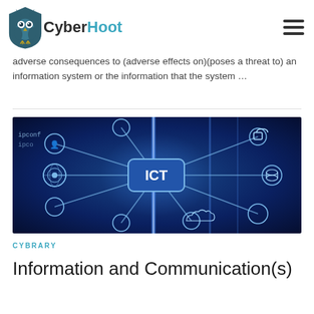CyberHoot
adverse consequences to (adverse effects on)(poses a threat to) an information system or the information that the system ...
[Figure (photo): Technology network diagram showing ICT (Information and Communications Technology) concept with connected icons on a blue digital background. Central node labeled 'ICT' connected to various icons including a person, globe, lock, database, cloud, and other technology symbols.]
CYBRARY
Information and Communication(s)